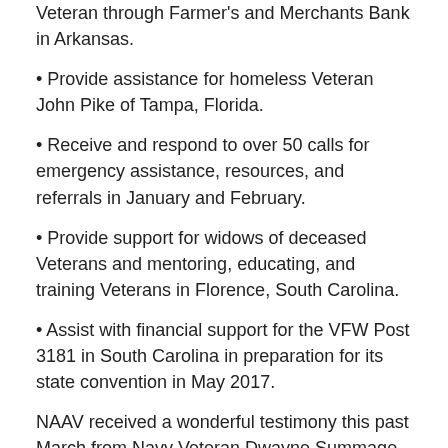Veteran through Farmer's and Merchants Bank in Arkansas.
Provide assistance for homeless Veteran John Pike of Tampa, Florida.
Receive and respond to over 50 calls for emergency assistance, resources, and referrals in January and February.
Provide support for widows of deceased Veterans and mentoring, educating, and training Veterans in Florence, South Carolina.
Assist with financial support for the VFW Post 3181 in South Carolina in preparation for its state convention in May 2017.
NAAV received a wonderful testimony this past March from Navy Veteran Dwayne Summage.
This is my testimony, a Navy Vet whose been diagnosed with TBI and PTSD. Ever since the age of 17,